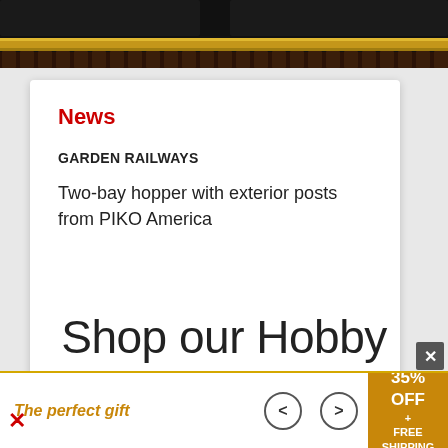[Figure (photo): Close-up of model railroad track with dark ties and gold rail, black background, locomotives partially visible at top]
News
GARDEN RAILWAYS
Two-bay hopper with exterior posts from PIKO America
Shop our Hobby Store
The perfect gift
35% OFF + FREE SHIPPING